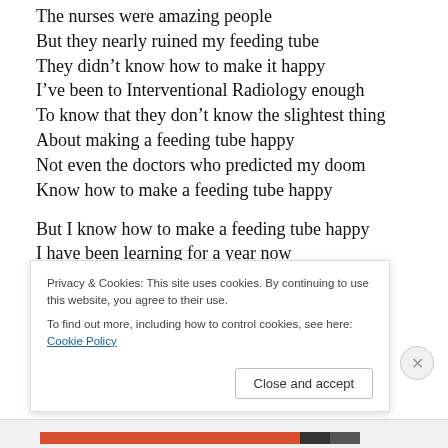The nurses were amazing people
But they nearly ruined my feeding tube
They didn't know how to make it happy
I've been to Interventional Radiology enough
To know that they don't know the slightest thing
About making a feeding tube happy
Not even the doctors who predicted my doom
Know how to make a feeding tube happy
But I know how to make a feeding tube happy
I have been learning for a year now
Every day I learn more
Privacy & Cookies: This site uses cookies. By continuing to use this website, you agree to their use. To find out more, including how to control cookies, see here: Cookie Policy
Close and accept